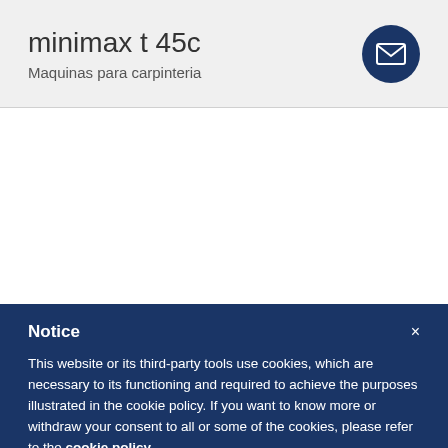minimax t 45c
Maquinas para carpinteria
[Figure (other): Dark blue circular email/contact button icon with envelope symbol]
Notice
This website or its third-party tools use cookies, which are necessary to its functioning and required to achieve the purposes illustrated in the cookie policy. If you want to know more or withdraw your consent to all or some of the cookies, please refer to the cookie policy.
By closing this banner, scrolling this page, clicking a link or continuing to browse otherwise, you agree to the use of cookies.